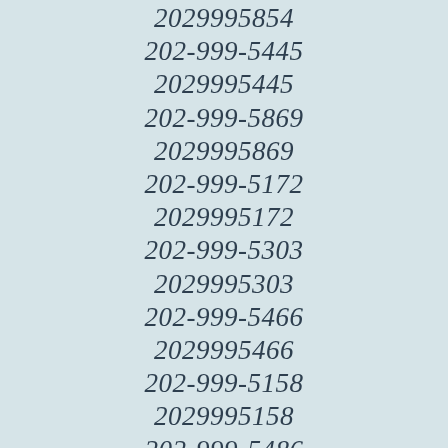2029995854
202-999-5445
2029995445
202-999-5869
2029995869
202-999-5172
2029995172
202-999-5303
2029995303
202-999-5466
2029995466
202-999-5158
2029995158
202-999-5486
2029995486
202-999-5383